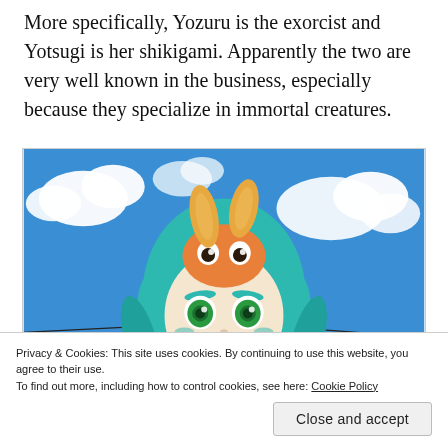More specifically, Yozuru is the exorcist and Yotsugi is her shikigami. Apparently the two are very well known in the business, especially because they specialize in immortal creatures.
[Figure (illustration): Anime illustration showing a character with teal/green long hair and green eyes, wearing a small orange creature (with rabbit-like ears and large eyes) on her head. Blue sky with white clouds in the background.]
Privacy & Cookies: This site uses cookies. By continuing to use this website, you agree to their use.
To find out more, including how to control cookies, see here: Cookie Policy
Close and accept